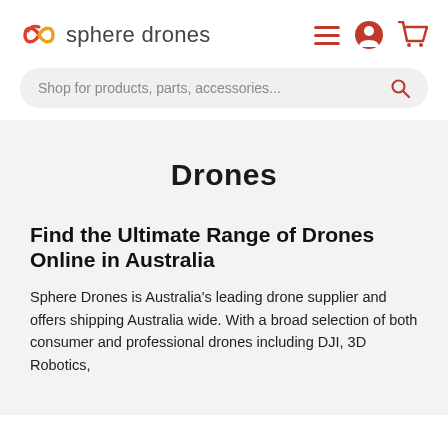sphere drones
Shop for products, parts, accessories...
Drones
Find the Ultimate Range of Drones Online in Australia
Sphere Drones is Australia's leading drone supplier and offers shipping Australia wide. With a broad selection of both consumer and professional drones including DJI, 3D Robotics,